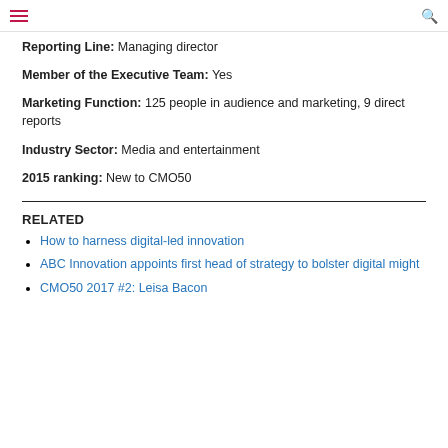Reporting Line: Managing director
Member of the Executive Team: Yes
Marketing Function: 125 people in audience and marketing, 9 direct reports
Industry Sector: Media and entertainment
2015 ranking: New to CMO50
RELATED
How to harness digital-led innovation
ABC Innovation appoints first head of strategy to bolster digital might
CMO50 2017 #2: Leisa Bacon